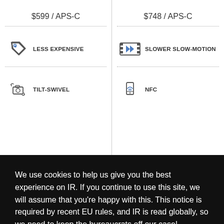$599 / APS-C
$748 / APS-C
LESS EXPENSIVE
SLOWER SLOW-MOTION
TILT-SWIVEL
NFC
We use cookies to help us give you the best experience on IR. If you continue to use this site, we will assume that you're happy with this. This notice is required by recent EU rules, and IR is read globally, so we need to keep the bureaucrats off our case!
Learn more
Got it!
CAMERA REVIEWS   COMPARE CAMERAS